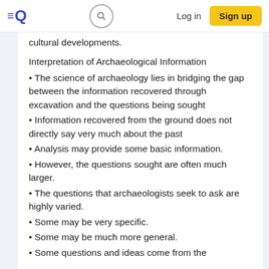EQ [logo] | [search] | Log in | Sign up
cultural developments.
Interpretation of Archaeological Information
• The science of archaeology lies in bridging the gap between the information recovered through excavation and the questions being sought
• Information recovered from the ground does not directly say very much about the past
• Analysis may provide some basic information.
• However, the questions sought are often much larger.
• The questions that archaeologists seek to ask are highly varied.
• Some may be very specific.
• Some may be much more general.
• Some questions and ideas come from the